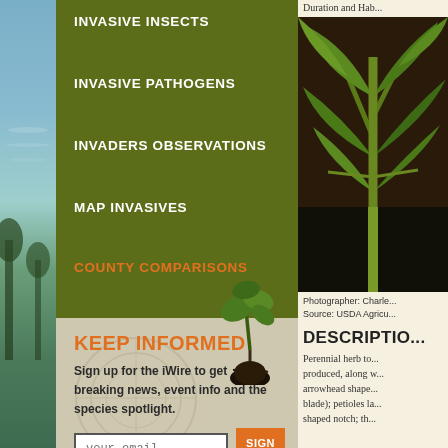INVASIVE INSECTS
INVASIVE PATHOGENS
INVADERS OBSERVATIONS
MAP INVASIVES
COUNTY COMPARISONS
KEEP INFORMED
Sign up for the iWire to get breaking news, event info and the species spotlight.
[Figure (photo): Tall green plant with large arrowhead-shaped leaves growing in dark soil]
Photographer: Charle...
Source: USDA Agricu...
DESCRIPTIO...
Perennial herb to... produced, along w... arrowhead shape... blade); petioles la... shaped notch; th...